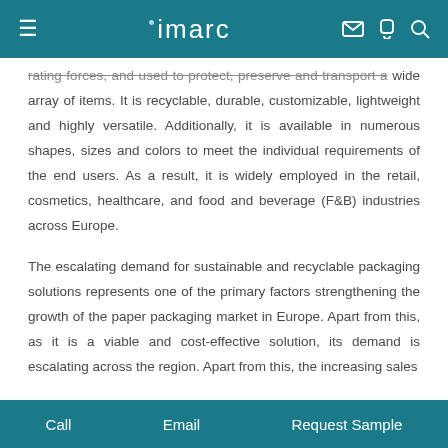imarc
rating forces, and used to protect, preserve and transport a wide array of items. It is recyclable, durable, customizable, lightweight and highly versatile. Additionally, it is available in numerous shapes, sizes and colors to meet the individual requirements of the end users. As a result, it is widely employed in the retail, cosmetics, healthcare, and food and beverage (F&B) industries across Europe.
The escalating demand for sustainable and recyclable packaging solutions represents one of the primary factors strengthening the growth of the paper packaging market in Europe. Apart from this, as it is a viable and cost-effective solution, its demand is escalating across the region. Apart from this, the increasing sales
Call   Email   Request Sample